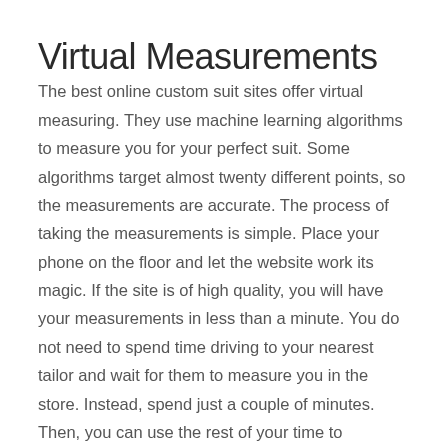Virtual Measurements
The best online custom suit sites offer virtual measuring. They use machine learning algorithms to measure you for your perfect suit. Some algorithms target almost twenty different points, so the measurements are accurate. The process of taking the measurements is simple. Place your phone on the floor and let the website work its magic. If the site is of high quality, you will have your measurements in less than a minute. You do not need to spend time driving to your nearest tailor and wait for them to measure you in the store. Instead, spend just a couple of minutes. Then, you can use the rest of your time to complete business tasks.